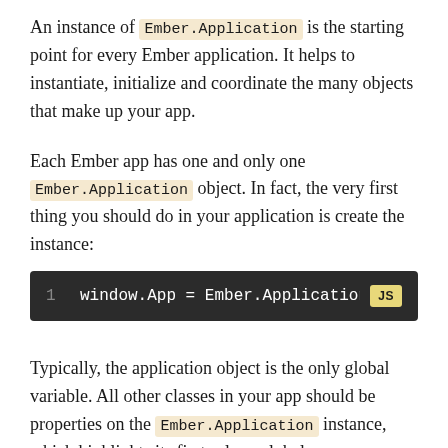An instance of Ember.Application is the starting point for every Ember application. It helps to instantiate, initialize and coordinate the many objects that make up your app.
Each Ember app has one and only one Ember.Application object. In fact, the very first thing you should do in your application is create the instance:
[Figure (screenshot): Code block showing: 1   window.App = Ember.Application.cre   JS]
Typically, the application object is the only global variable. All other classes in your app should be properties on the Ember.Application instance, which highlights its first role: a global namespace.
For example, if you define a view class, it might look like this: